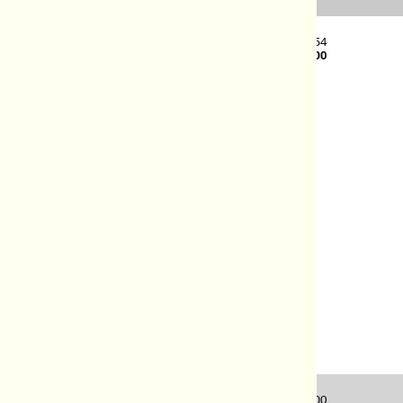| Callsign | State | Region |  | Band | Score | Val |
| --- | --- | --- | --- | --- | --- | --- |
| VE3OAT | ON | VE |  | 160m |  |  |
|  |  |  | K5CM |  | 1,845,273.54 | 3,5 |
|  |  |  |  |  | 0.00 |  |
|  |  |  | W8KSE |  |  | 3,5 |
|  |  |  | W6OQI |  |  | 3,5 |
|  |  |  | WA6ZTY |  |  |  |
| W0HBK | IA | W0 |  | 160m |  |  |
|  |  |  | K5CM |  | 1,845,273.00 | 3,5 |
|  |  |  |  |  | -0.54 |  |
|  |  |  | W8KSE |  |  | 3,5 |